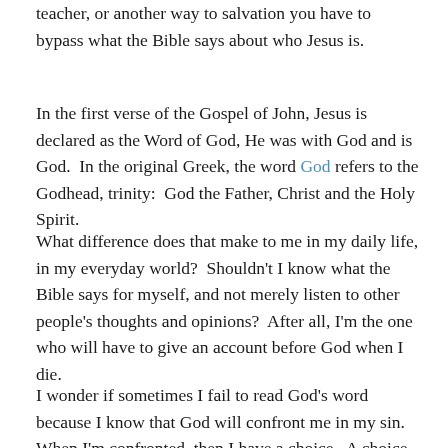teacher, or another way to salvation you have to bypass what the Bible says about who Jesus is.
In the first verse of the Gospel of John, Jesus is declared as the Word of God, He was with God and is God.  In the original Greek, the word God refers to the Godhead, trinity:  God the Father, Christ and the Holy Spirit.
What difference does that make to me in my daily life, in my everyday world?  Shouldn't I know what the Bible says for myself, and not merely listen to other people's thoughts and opinions?  After all, I'm the one who will have to give an account before God when I die.
I wonder if sometimes I fail to read God's word because I know that God will confront me in my sin.  When I'm confronted, then I have a choice.  A choice to obey, repent and turn and do what